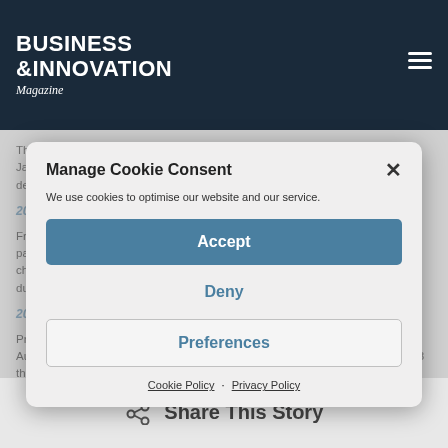BUSINESS & INNOVATION Magazine
The Prodrive Hunter T2 car made its debut on the Dakar in Saudi Arabia in January this year. The car finished 11th, the highest placing by any car on its debut in the history of the event.
2004 BAR Honda F1 (static display)
From 2002-2004, Prodrive ran the BAR F1 team, taking it from the middle of the pack to second only to Ferrari in the constructors' championship in 2004. This chassis was used by Jenson Button and Takuma Sato for racing and testing during 2004.
2003/4 Ford Falcon V8 Supercar (static display)
Prodrive created the Ford Performance Racing team and competed in the Australian V8 Supercars championship from 2000 to 2012. This is the Falcon V8 that Glenn Seton drove during the 2003 and 2004 seasons
Manage Cookie Consent
We use cookies to optimise our website and our service.
Accept
Deny
Preferences
Cookie Policy · Privacy Policy
Share This Story